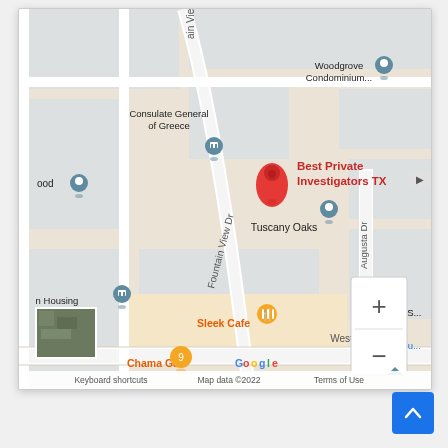[Figure (map): Google Maps screenshot showing location of Best Private Investigators TX near Fountain View Dr and Westheimer Rd in Houston, TX. Nearby landmarks include Consulate General of Greece, Woodgrove Condominium, Tuscany Oaks, Sleek Cafe, Chama Gaucha, and a Lutheran church. Map data ©2022. Zoom controls (+/-) and satellite thumbnail visible.]